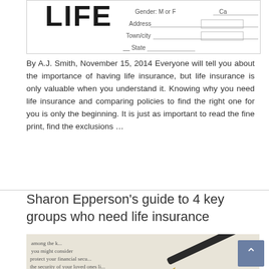[Figure (photo): Life insurance form with fields for Gender (M or F), Address, Town/City, and other fields visible at top]
By A.J. Smith, November 15, 2014 Everyone will tell you about the importance of having life insurance, but life insurance is only valuable when you understand it. Knowing why you need life insurance and comparing policies to find the right one for you is only the beginning. It is just as important to read the fine print, find the exclusions …
Read More »
Sharon Epperson's guide to 4 key groups who need life insurance
[Figure (photo): Close-up photo of a pen on a document with text about financial security, life insurance, disability insurance, long-term care — the word 'urance' visible in large text at bottom]